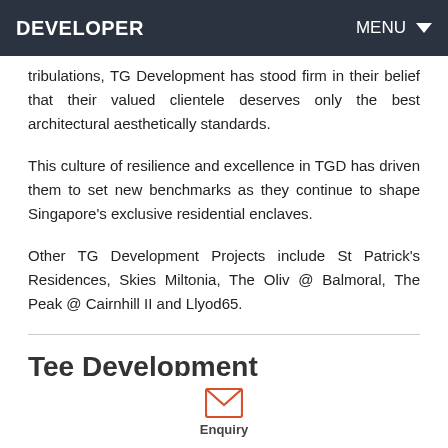DEVELOPER    MENU
tribulations, TG Development has stood firm in their belief that their valued clientele deserves only the best architectural aesthetically standards.
This culture of resilience and excellence in TGD has driven them to set new benchmarks as they continue to shape Singapore's exclusive residential enclaves.
Other TG Development Projects include St Patrick's Residences, Skies Miltonia, The Oliv @ Balmoral, The Peak @ Cairnhill II and Llyod65.
Tee Development
[Figure (other): Enquiry envelope icon in red/orange with label 'Enquiry' below]